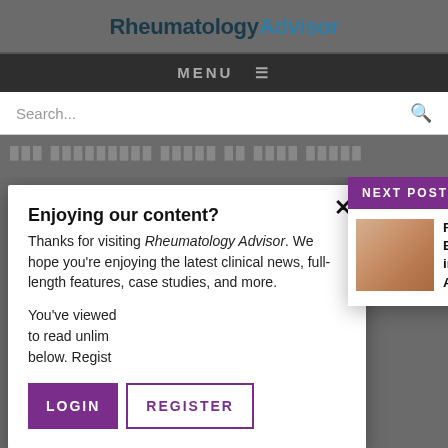RheumatologyAdvisor
MENU ≡
Search...
Enjoying our content?
Thanks for visiting Rheumatology Advisor. We hope you're enjoying the latest clinical news, full-length features, case studies, and more.
You've viewed... to read unlim... below. Regist...
NEXT POST IN GOUT
Factors Predictive of Early Gou... Recurrence in Patients Starting... Acute Flare
LOGIN
REGISTER